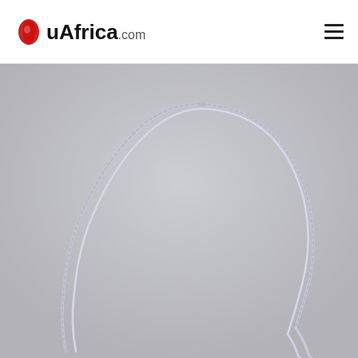uAfrica.com
[Figure (photo): Two thin white/light gray twisted cords or strings arranged in a large arch/loop shape against a light gray background, with loose ends hanging down at the bottom right.]